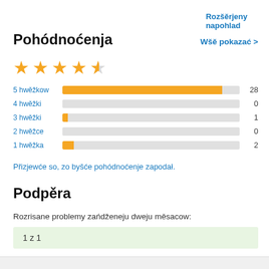Rozšěrjeny napohlad
Pohódnoćenja
Wšě pokazać >
[Figure (other): 4.5 out of 5 stars rating display]
[Figure (bar-chart): Rating distribution]
Přizjewće so, zo byšće pohódnoćenje zapodał.
Podpěra
Rozrisane problemy zańdženeju dweju měsacow:
1 z 1